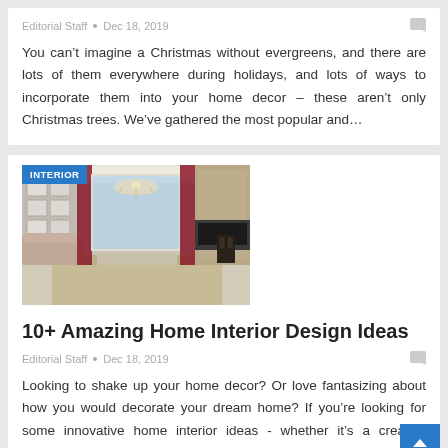Editorial Staff  •  Dec 18, 2019
You can't imagine a Christmas without evergreens, and there are lots of them everywhere during holidays, and lots of ways to incorporate them into your home decor – these aren't only Christmas trees. We've gathered the most popular and…
[Figure (photo): Interior room photo showing a luxurious living room with chandelier, curtains, sofa, and decorative wall panels. Badge overlay reads 'INTERIOR'.]
10+ Amazing Home Interior Design Ideas
Editorial Staff  •  Dec 18, 2019
Looking to shake up your home decor? Or love fantasizing about how you would decorate your dream home? If you're looking for some innovative home interior ideas - whether it's a creative children's bedroom or the best pool in the